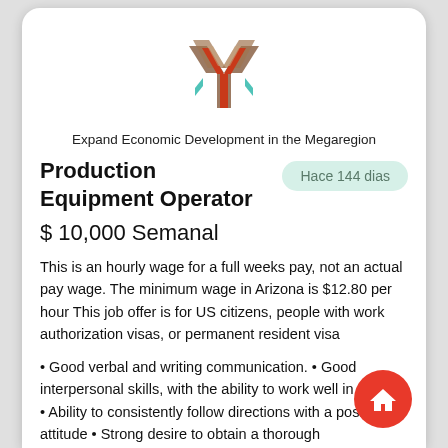[Figure (logo): Hexagonal geometric logo with brown, red/orange, and teal stripe pattern forming a Y shape]
Expand Economic Development in the Megaregion
Production Equipment Operator
Hace 144 dias
$ 10,000 Semanal
This is an hourly wage for a full weeks pay, not an actual pay wage. The minimum wage in Arizona is $12.80 per hour This job offer is for US citizens, people with work authorization visas, or permanent resident visa
• Good verbal and writing communication. • Good interpersonal skills, with the ability to work well in a team. • Ability to consistently follow directions with a positive attitude • Strong desire to obtain a thorough understanding of, or ability to quickly learn, production equipment. • Ability to understand work instructions,